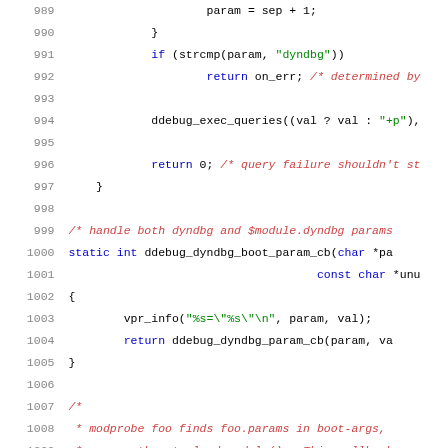Source code listing lines 989-1009 showing C kernel code for ddebug/dyndbg boot parameter handling